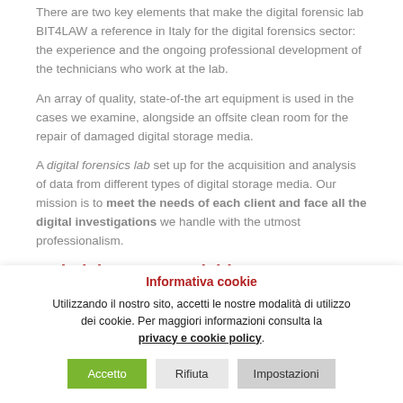There are two key elements that make the digital forensic lab BIT4LAW a reference in Italy for the digital forensics sector: the experience and the ongoing professional development of the technicians who work at the lab.
An array of quality, state-of-the art equipment is used in the cases we examine, alongside an offsite clean room for the repair of damaged digital storage media.
A digital forensics lab set up for the acquisition and analysis of data from different types of digital storage media. Our mission is to meet the needs of each client and face all the digital investigations we handle with the utmost professionalism.
Main laboratory activities
Informativa cookie
Utilizzando il nostro sito, accetti le nostre modalità di utilizzo dei cookie. Per maggiori informazioni consulta la privacy e cookie policy.